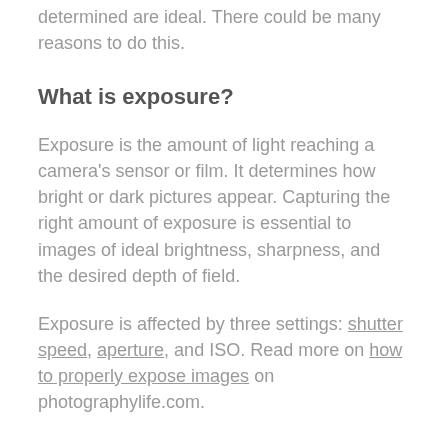determined are ideal. There could be many reasons to do this.
What is exposure?
Exposure is the amount of light reaching a camera's sensor or film. It determines how bright or dark pictures appear. Capturing the right amount of exposure is essential to images of ideal brightness, sharpness, and the desired depth of field.
Exposure is affected by three settings: shutter speed, aperture, and ISO. Read more on how to properly expose images on photographylife.com.